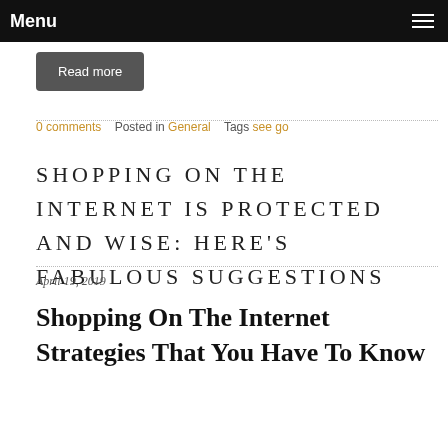Menu
Read more
0 comments   Posted in General   Tags see go
SHOPPING ON THE INTERNET IS PROTECTED AND WISE: HERE'S FABULOUS SUGGESTIONS
April 19, 2019
Shopping On The Internet Strategies That You Have To Know